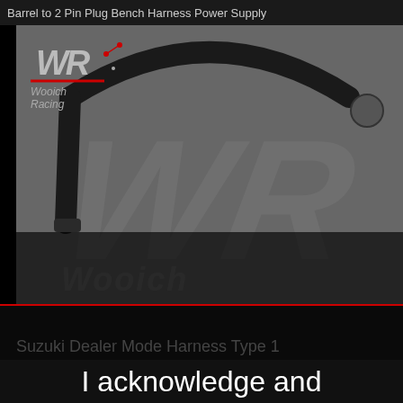Barrel to 2 Pin Plug Bench Harness Power Supply
[Figure (photo): Product photo showing a black harness cable arc against a gray background with Wooich Racing logo in the top left corner. The logo shows stylized WR letters in italic with circuit board design elements and red accent color.]
Suzuki Dealer Mode Harness Type 1
I acknowledge and